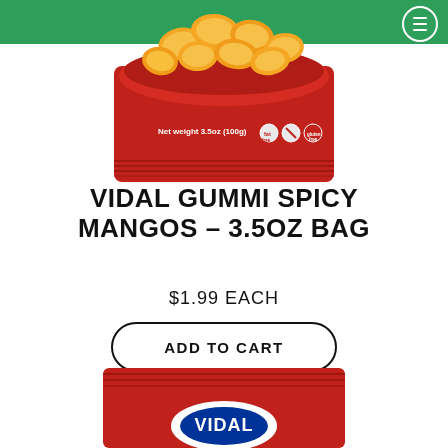[Figure (photo): Top portion of Vidal Gummi Spicy Mangos 3.5oz bag showing mango-shaped gummy candies spilling out of a red bag. Text on bag reads 'Net weight 3.5oz (100g)' with fat free and gluten free icons.]
VIDAL GUMMI SPICY MANGOS – 3.5OZ BAG
$1.99 EACH
ADD TO CART
[Figure (photo): Bottom portion of another Vidal candy product bag showing the red packaging with the VIDAL logo visible at the bottom.]